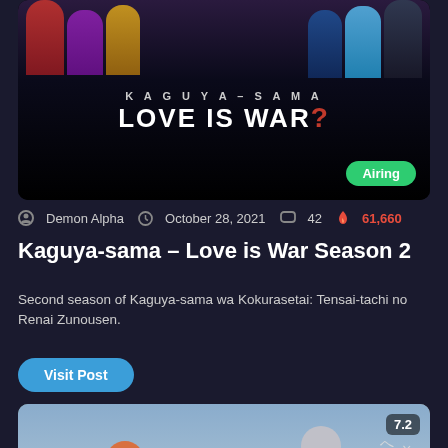[Figure (illustration): Kaguya-sama Love is War Season 2 anime promo card with dark background, anime characters at top, title text 'KAGUYA-SAMA LOVE IS WAR?' in white and red, and green 'Airing' badge]
Demon Alpha  October 28, 2021  42  61,660
Kaguya-sama – Love is War Season 2
Second season of Kaguya-sama wa Kokurasetai: Tensai-tachi no Renai Zunousen.
Visit Post
[Figure (illustration): Fruits Basket or similar anime key visual showing multiple characters running on a beach/shore, score badge '7.2' in upper right, Japanese text characters on right side]